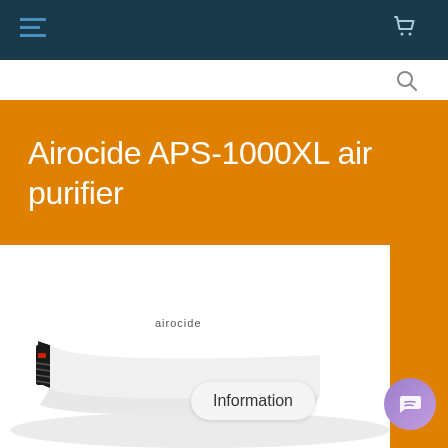Navigation bar with menu, cart, and search icons
Airocide APS-1000XL air purifier
[Figure (photo): Airocide APS-1000XL air purifier device, white flat rectangular unit with Airocide branding on top, shown at an angle. An Information button and a purple chat widget button are visible in the lower right.]